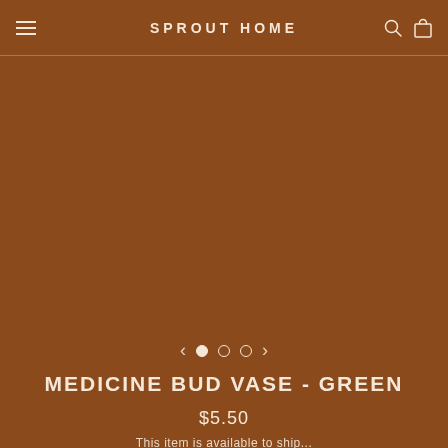SPROUT HOME
[Figure (photo): Product image area — blank brown background where product photo would appear (Medicine Bud Vase - Green)]
MEDICINE BUD VASE - GREEN
$5.50
This item is available to ship...